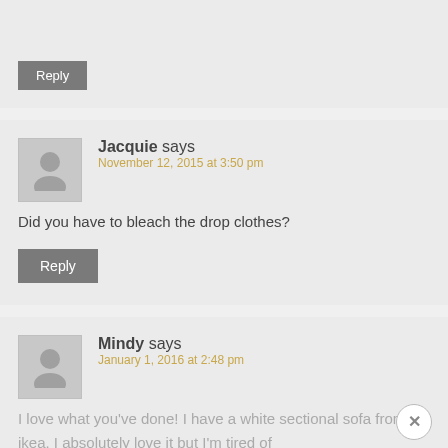[Figure (screenshot): Partial blog comment section showing a Reply button at the bottom of a previous comment]
Jacquie says
November 12, 2015 at 3:50 pm
Did you have to bleach the drop clothes?
Reply
Mindy says
January 1, 2016 at 2:48 pm
I love what you've done! I have a white sectional sofa from ikea. I absolutely love it but I'm tired of